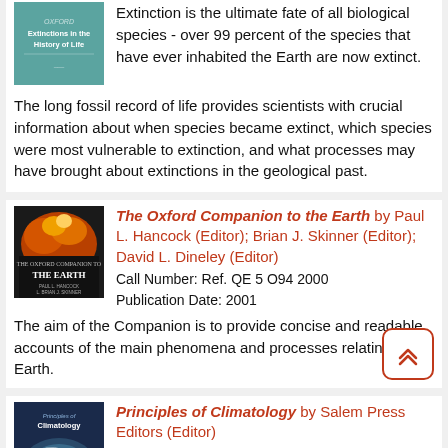[Figure (illustration): Book cover for Extinctions in the History of Life, teal/blue color]
Extinction is the ultimate fate of all biological species - over 99 percent of the species that have ever inhabited the Earth are now extinct.
The long fossil record of life provides scientists with crucial information about when species became extinct, which species were most vulnerable to extinction, and what processes may have brought about extinctions in the geological past.
[Figure (illustration): Book cover for The Oxford Companion to the Earth, showing volcanic/fire imagery]
The Oxford Companion to the Earth by Paul L. Hancock (Editor); Brian J. Skinner (Editor); David L. Dineley (Editor)
Call Number: Ref. QE 5 O94 2000
Publication Date: 2001
The aim of the Companion is to provide concise and readable accounts of the main phenomena and processes relating to the Earth.
[Figure (illustration): Book cover for Principles of Climatology, dark blue with hurricane satellite image]
Principles of Climatology by Salem Press Editors (Editor)
Call Number: Ref. QC981 P756 2018
Publication Date: 2018
Climatology is the study of climate. The more